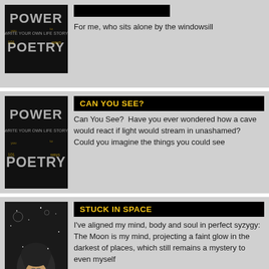[Figure (illustration): Top card partially visible: Power Poetry book cover (black background, stylized yellow/white text 'POWER POETRY') on left, and partial text on right]
For me, who sits alone by the windowsill
[Figure (illustration): Power Poetry book cover: black background with stylized text reading POWER / WRITE YOUR OWN LIFE STORY / POETRY in yellow and white]
CAN YOU SEE?
Can You See?  Have you ever wondered how a cave would react if light would stream in unashamed?  Could you imagine the things you could see
[Figure (illustration): Dark illustration of a woman with closed eyes and cosmic/space imagery around her head including moon, stars, and planets]
STUCK IN SPACE
I've aligned my mind, body and soul in perfect syzygy:  The Moon is my mind, projecting a faint glow in the darkest of places, which still remains a mystery to even myself